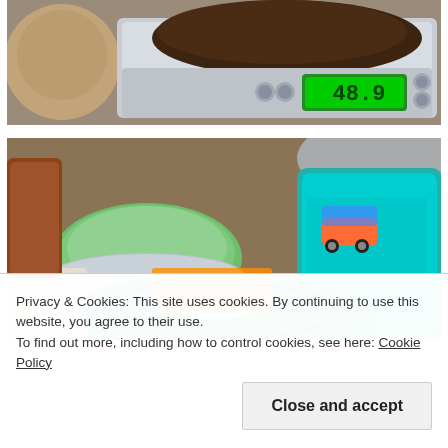[Figure (photo): A kitchen scale with a digital display showing 48.9, with dark brown granular substance (likely cocoa or spice) on top, and a wooden bowl visible to the left. The scale is silver/grey on a granite countertop.]
[Figure (photo): A kitchen counter scene with various items: a green citrus juicer in a metal bowl, a teal/turquoise collapsible colander in the foreground, a teal mug with a retro VW bus/campervan print design, a plastic container, and other kitchen items.]
Privacy & Cookies: This site uses cookies. By continuing to use this website, you agree to their use.
To find out more, including how to control cookies, see here: Cookie Policy
Close and accept